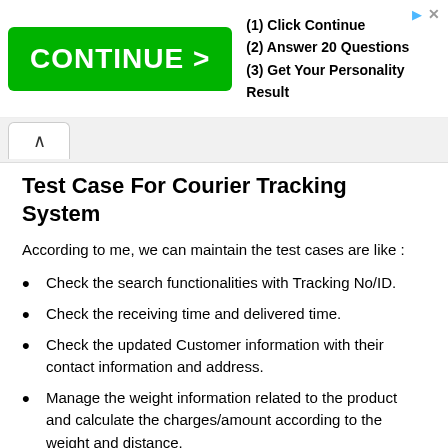[Figure (screenshot): Advertisement banner with green CONTINUE > button and text: (1) Click Continue, (2) Answer 20 Questions, (3) Get Your Personality Result]
Test Case For Courier Tracking System
According to me, we can maintain the test cases are like :
Check the search functionalities with Tracking No/ID.
Check the receiving time and delivered time.
Check the updated Customer information with their contact information and address.
Manage the weight information related to the product and calculate the charges/amount according to the weight and distance.
Calculate the distance by entering the pin code of the